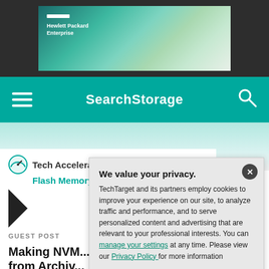[Figure (screenshot): HPE (Hewlett Packard Enterprise) banner advertisement with teal/green abstract background]
SearchStorage
[Figure (screenshot): Article header showing Tech Accelerator and Flash Memory Summit branding with article titled 'Making NVM... from Archiv...']
GUEST POST
Making NVM... from Archiv...
Learn how the exi... can be suited for ... scheduling than t... Gonzalez also bri...
We value your privacy.
TechTarget and its partners employ cookies to improve your experience on our site, to analyze traffic and performance, and to serve personalized content and advertising that are relevant to your professional interests. You can manage your settings at any time. Please view our Privacy Policy for more information